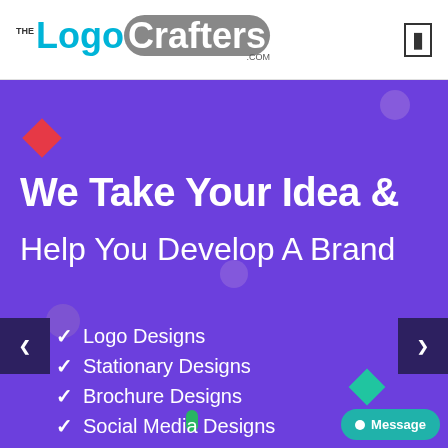[Figure (logo): TheLogo Crafters .com logo with teal and gray typography on white header]
We Take Your Idea &
Help You Develop A Brand
Logo Designs
Stationary Designs
Brochure Designs
Social Media Designs